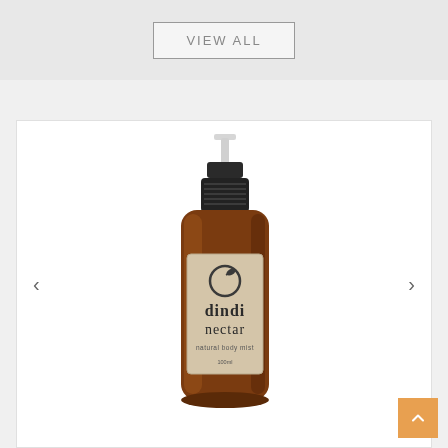VIEW ALL
[Figure (photo): Amber glass spray bottle of Dindi Nectar natural body mist, 100ml, with a black pump sprayer and a beige label showing the Dindi brand logo and product name.]